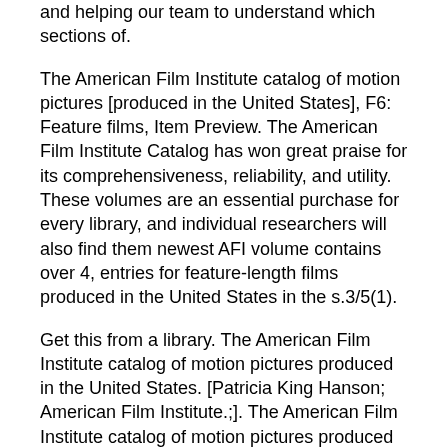and helping our team to understand which sections of.
The American Film Institute catalog of motion pictures [produced in the United States], F6: Feature films, Item Preview. The American Film Institute Catalog has won great praise for its comprehensiveness, reliability, and utility. These volumes are an essential purchase for every library, and individual researchers will also find them newest AFI volume contains over 4, entries for feature-length films produced in the United States in the s.3/5(1).
Get this from a library. The American Film Institute catalog of motion pictures produced in the United States. [Patricia King Hanson; American Film Institute.;]. The American Film Institute catalog of motion pictures produced in the United States.
[American Film Institute.;] Home. WorldCat Home About WorldCat Help. Search. Search for Library Items Search for Lists Search for Contacts Search for a Library BookVa>, schema. The American Film Institute Catalog of Motion Pictures Produced in the United States: Film entries, A - L.